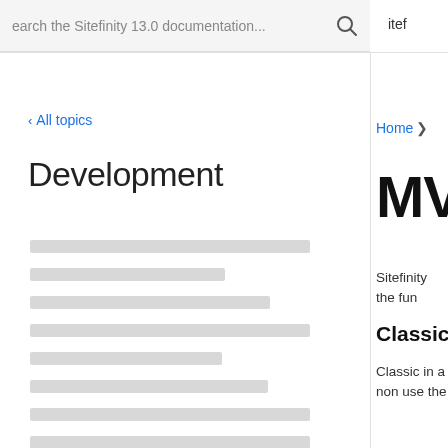Search the Sitefinity 13.0 documentation...
itef
< All topics
Development
[Figure (other): Skeleton loading bars for navigation menu items]
Home >
MV
Sitefinity the fun
Classic
Classic in a non use the